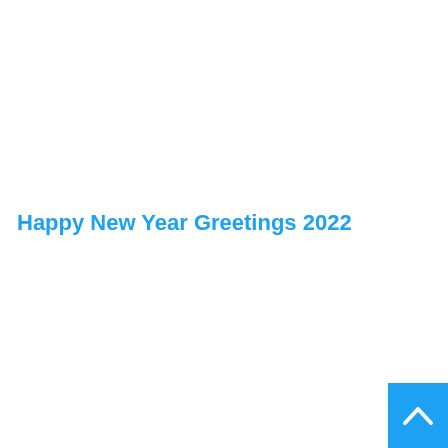Happy New Year Greetings 2022
[Figure (other): Blue square button with a white upward-pointing caret/chevron icon in the bottom-right corner of the page]